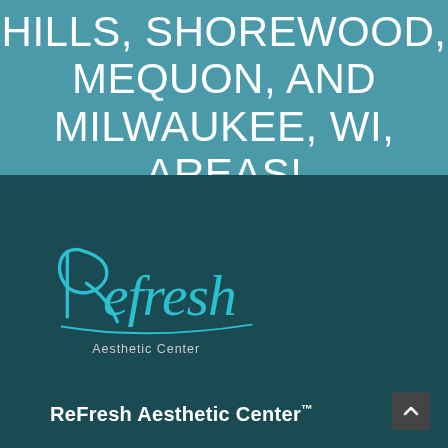HILLS, SHOREWOOD, MEQUON, AND MILWAUKEE, WI, AREAS!
[Figure (logo): Refresh Aesthetic Center logo in teal/cyan script lettering on dark teal background]
ReFresh Aesthetic Center™